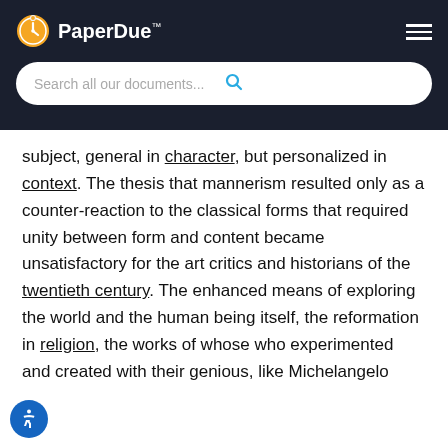PaperDue™
subject, general in character, but personalized in context. The thesis that mannerism resulted only as a counter-reaction to the classical forms that required unity between form and content became unsatisfactory for the art critics and historians of the twentieth century. The enhanced means of exploring the world and the human being itself, the reformation in religion, the works of whose who experimented and created with their genious, like Michelangelo